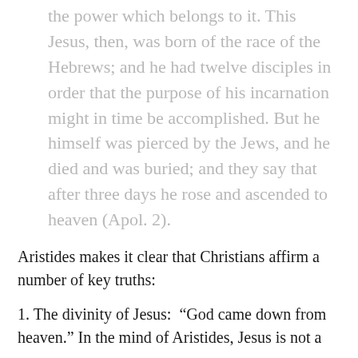the power which belongs to it. This Jesus, then, was born of the race of the Hebrews; and he had twelve disciples in order that the purpose of his incarnation might in time be accomplished. But he himself was pierced by the Jews, and he died and was buried; and they say that after three days he rose and ascended to heaven (Apol. 2).
Aristides makes it clear that Christians affirm a number of key truths:
1. The divinity of Jesus: “God came down from heaven.” In the mind of Aristides, Jesus is not a